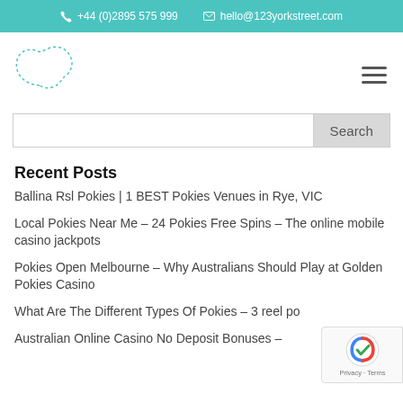+44 (0)2895 575 999   hello@123yorkstreet.com
[Figure (logo): Cloud/blob shaped logo outline in teal dashed lines]
Search button with search input field
Recent Posts
Ballina Rsl Pokies | 1 BEST Pokies Venues in Rye, VIC
Local Pokies Near Me – 24 Pokies Free Spins – The online mobile casino jackpots
Pokies Open Melbourne – Why Australians Should Play at Golden Pokies Casino
What Are The Different Types Of Pokies – 3 reel po
Australian Online Casino No Deposit Bonuses – Standard Pokie Bel...